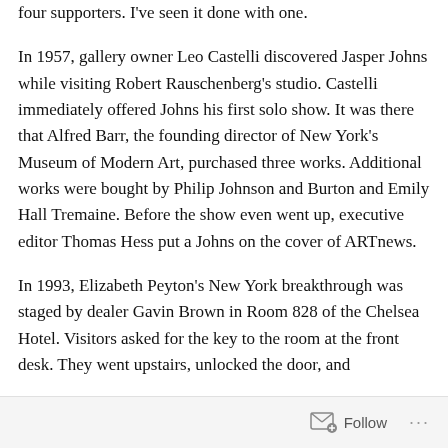four supporters. I've seen it done with one.
In 1957, gallery owner Leo Castelli discovered Jasper Johns while visiting Robert Rauschenberg's studio. Castelli immediately offered Johns his first solo show. It was there that Alfred Barr, the founding director of New York's Museum of Modern Art, purchased three works. Additional works were bought by Philip Johnson and Burton and Emily Hall Tremaine. Before the show even went up, executive editor Thomas Hess put a Johns on the cover of ARTnews.
In 1993, Elizabeth Peyton's New York breakthrough was staged by dealer Gavin Brown in Room 828 of the Chelsea Hotel. Visitors asked for the key to the room at the front desk. They went upstairs, unlocked the door, and
Follow ···